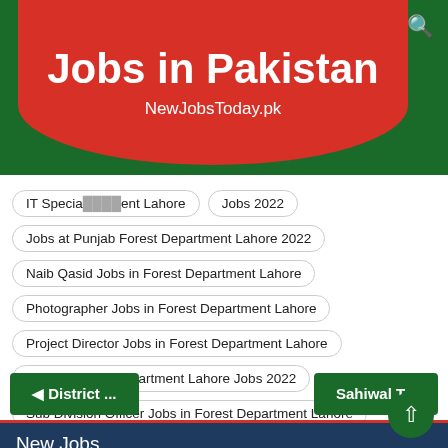Jobs in Pakistan
NewJobsToday.pk
IT Specialist ... ent Lahore
Jobs 2022
Jobs at Punjab Forest Department Lahore 2022
Naib Qasid Jobs in Forest Department Lahore
Photographer Jobs in Forest Department Lahore
Project Director Jobs in Forest Department Lahore
Punjab Forest Department Lahore Jobs 2022
Sub Division Officer Jobs in Forest Department Lahore
Sweeper Jobs in Forest Department Lahore
◄ District ...
Sahiwal T...
New Jobs